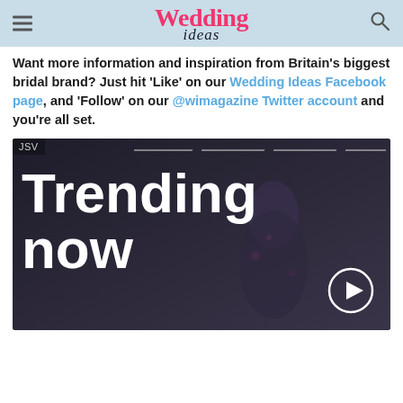Wedding ideas
Want more information and inspiration from Britain's biggest bridal brand? Just hit 'Like' on our Wedding Ideas Facebook page, and 'Follow' on our @wimagazine Twitter account and you're all set.
[Figure (screenshot): Video thumbnail showing 'Trending now' text overlay on a dark background with a person in a floral dress and a play button in the bottom right corner. JSV label in top left.]